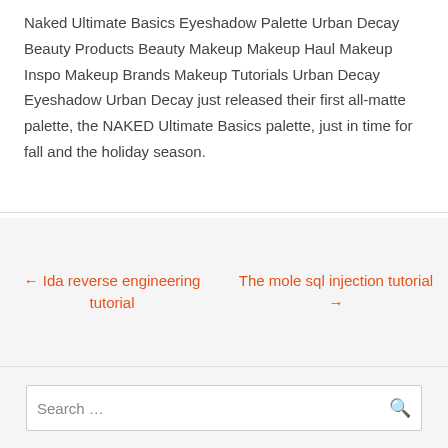Naked Ultimate Basics Eyeshadow Palette Urban Decay Beauty Products Beauty Makeup Makeup Haul Makeup Inspo Makeup Brands Makeup Tutorials Urban Decay Eyeshadow Urban Decay just released their first all-matte palette, the NAKED Ultimate Basics palette, just in time for fall and the holiday season.
← Ida reverse engineering tutorial
The mole sql injection tutorial →
Search …